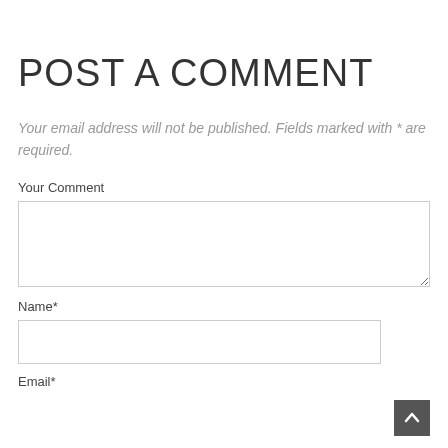POST A COMMENT
Your email address will not be published. Fields marked with * are required.
Your Comment
Name*
Email*